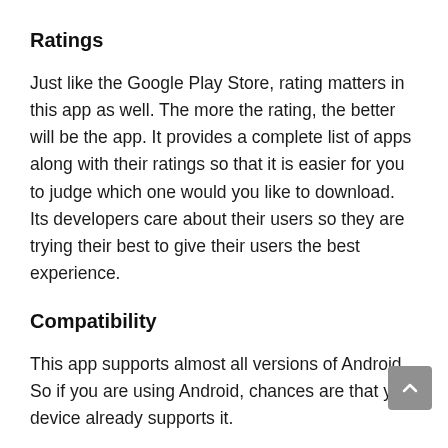Ratings
Just like the Google Play Store, rating matters in this app as well. The more the rating, the better will be the app. It provides a complete list of apps along with their ratings so that it is easier for you to judge which one would you like to download. Its developers care about their users so they are trying their best to give their users the best experience.
Compatibility
This app supports almost all versions of Android. So if you are using Android, chances are that your device already supports it.